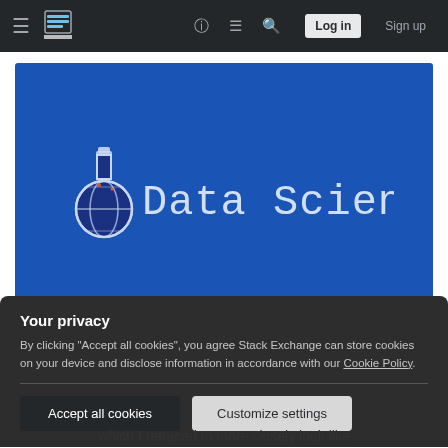≡  [Stack Exchange Logo]  ?  ≡  🔍  Log in  Sign up
[Figure (logo): Data Science Stack Exchange logo — blue background with a flask/potion icon and 'Data Science' text in monospace font on a blue rectangle banner]
Your privacy
By clicking "Accept all cookies", you agree Stack Exchange can store cookies on your device and disclose information in accordance with our Cookie Policy.
Accept all cookies   Customize settings
which I retraced to more closely look like